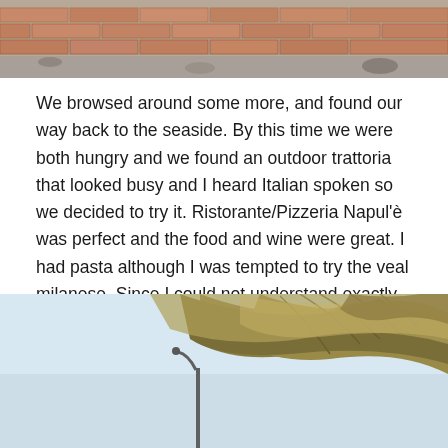[Figure (photo): Top portion of a photo showing brick pavement and gravel/stone ground area]
We browsed around some more, and found our way back to the seaside. By this time we were both hungry and we found an outdoor trattoria that looked busy and I heard Italian spoken so we decided to try it. Ristorante/Pizzeria Napul'è was perfect and the food and wine were great. I had pasta although I was tempted to try the veal milanese. Since I could not understand exactly how it was prepared I decided against it, but Tammy ordered it and then I wished I had. We may have to return here!
[Figure (photo): Bottom portion of a photo showing palm tree fronds against a light blue sky with a lamppost visible]